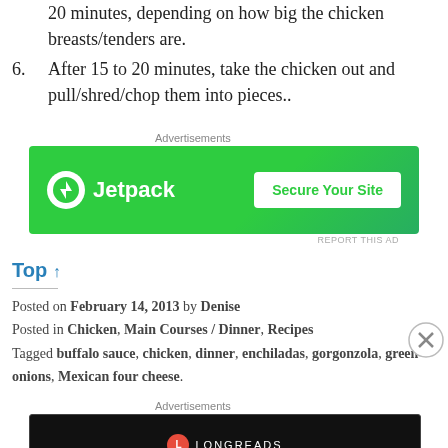20 minutes, depending on how big the chicken breasts/tenders are.
6. After 15 to 20 minutes, take the chicken out and pull/shred/chop them into pieces..
[Figure (other): Jetpack advertisement banner: green background with Jetpack logo and 'Secure Your Site' button]
Top ↑
Posted on February 14, 2013 by Denise
Posted in Chicken, Main Courses / Dinner, Recipes
Tagged buffalo sauce, chicken, dinner, enchiladas, gorgonzola, green onions, Mexican four cheese.
[Figure (other): Longreads advertisement banner: dark background with Longreads logo and tagline 'Read anything great lately?']